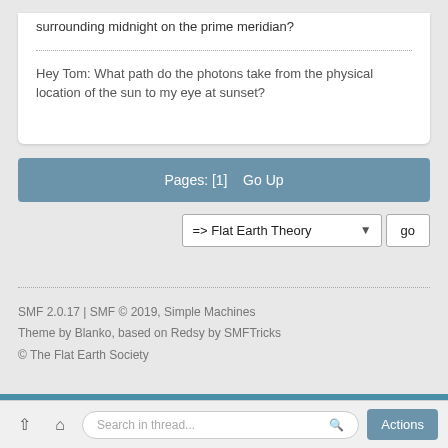surrounding midnight on the prime meridian?
Hey Tom:  What path do the photons take from the physical location of the sun to my eye at sunset?
Pages: [1]   Go Up
=> Flat Earth Theory
SMF 2.0.17 | SMF © 2019, Simple Machines
Theme by Blanko, based on Redsy by SMFTricks
© The Flat Earth Society
Search in thread...  Actions